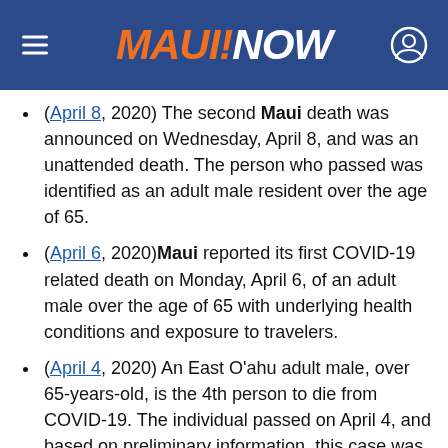MAUI NOW
(April 8, 2020) The second Maui death was announced on Wednesday, April 8, and was an unattended death. The person who passed was identified as an adult male resident over the age of 65.
(April 6, 2020) Maui reported its first COVID-19 related death on Monday, April 6, of an adult male over the age of 65 with underlying health conditions and exposure to travelers.
(April 4, 2020) An East O'ahu adult male, over 65-years-old, is the 4th person to die from COVID-19. The individual passed on April 4, and based on preliminary information, this case was travel-related in that the person may have been exposed to someone who had traveled. H... been hospitalized.